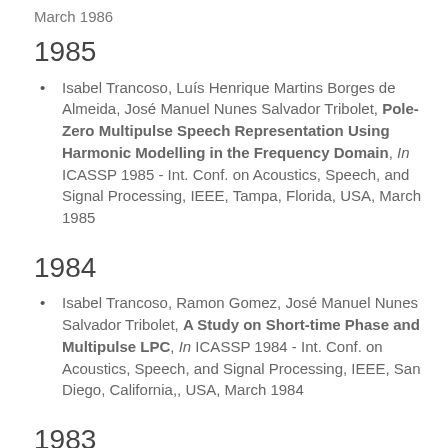March 1986
1985
Isabel Trancoso, Luís Henrique Martins Borges de Almeida, José Manuel Nunes Salvador Tribolet, Pole-Zero Multipulse Speech Representation Using Harmonic Modelling in the Frequency Domain, In ICASSP 1985 - Int. Conf. on Acoustics, Speech, and Signal Processing, IEEE, Tampa, Florida, USA, March 1985
1984
Isabel Trancoso, Ramon Gomez, José Manuel Nunes Salvador Tribolet, A Study on Short-time Phase and Multipulse LPC, In ICASSP 1984 - Int. Conf. on Acoustics, Speech, and Signal Processing, IEEE, San Diego, California,, USA, March 1984
1983